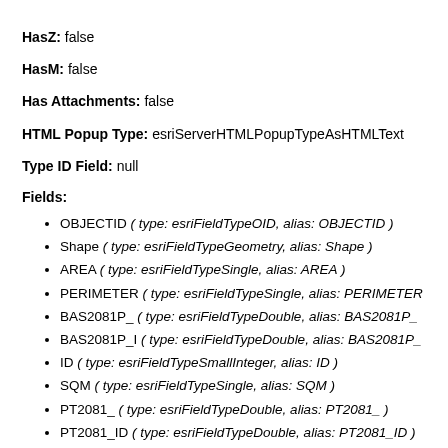HasZ: false
HasM: false
Has Attachments: false
HTML Popup Type: esriServerHTMLPopupTypeAsHTMLText
Type ID Field: null
Fields:
OBJECTID ( type: esriFieldTypeOID, alias: OBJECTID )
Shape ( type: esriFieldTypeGeometry, alias: Shape )
AREA ( type: esriFieldTypeSingle, alias: AREA )
PERIMETER ( type: esriFieldTypeSingle, alias: PERIMETER
BAS2081P_ ( type: esriFieldTypeDouble, alias: BAS2081P_
BAS2081P_I ( type: esriFieldTypeDouble, alias: BAS2081P_
ID ( type: esriFieldTypeSmallInteger, alias: ID )
SQM ( type: esriFieldTypeSingle, alias: SQM )
PT2081_ ( type: esriFieldTypeDouble, alias: PT2081_ )
PT2081_ID ( type: esriFieldTypeDouble, alias: PT2081_ID )
COM_ID ( type: esriFieldTypeDouble, alias: COM_ID )
RCH_CODE ( type: esriFieldTypeString, alias: RCH_CODE,